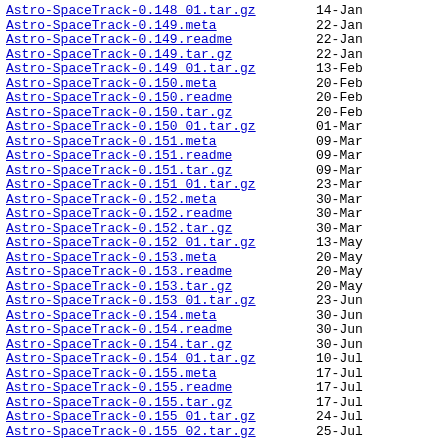Astro-SpaceTrack-0.148_01.tar.gz  14-Jan
Astro-SpaceTrack-0.149.meta  22-Jan
Astro-SpaceTrack-0.149.readme  22-Jan
Astro-SpaceTrack-0.149.tar.gz  22-Jan
Astro-SpaceTrack-0.149_01.tar.gz  13-Feb
Astro-SpaceTrack-0.150.meta  20-Feb
Astro-SpaceTrack-0.150.readme  20-Feb
Astro-SpaceTrack-0.150.tar.gz  20-Feb
Astro-SpaceTrack-0.150_01.tar.gz  01-Mar
Astro-SpaceTrack-0.151.meta  09-Mar
Astro-SpaceTrack-0.151.readme  09-Mar
Astro-SpaceTrack-0.151.tar.gz  09-Mar
Astro-SpaceTrack-0.151_01.tar.gz  23-Mar
Astro-SpaceTrack-0.152.meta  30-Mar
Astro-SpaceTrack-0.152.readme  30-Mar
Astro-SpaceTrack-0.152.tar.gz  30-Mar
Astro-SpaceTrack-0.152_01.tar.gz  13-May
Astro-SpaceTrack-0.153.meta  20-May
Astro-SpaceTrack-0.153.readme  20-May
Astro-SpaceTrack-0.153.tar.gz  20-May
Astro-SpaceTrack-0.153_01.tar.gz  23-Jun
Astro-SpaceTrack-0.154.meta  30-Jun
Astro-SpaceTrack-0.154.readme  30-Jun
Astro-SpaceTrack-0.154.tar.gz  30-Jun
Astro-SpaceTrack-0.154_01.tar.gz  10-Jul
Astro-SpaceTrack-0.155.meta  17-Jul
Astro-SpaceTrack-0.155.readme  17-Jul
Astro-SpaceTrack-0.155.tar.gz  17-Jul
Astro-SpaceTrack-0.155_01.tar.gz  24-Jul
Astro-SpaceTrack-0.155_02.tar.gz  25-Jul